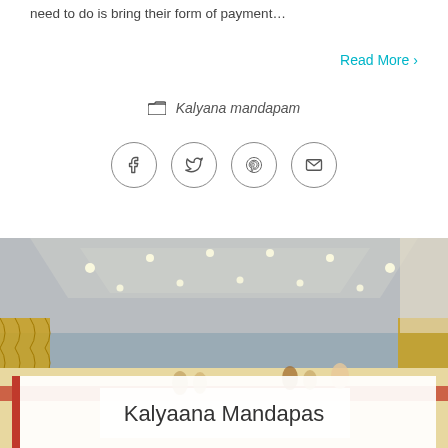need to do is bring their form of payment…
Read More ›
📁 Kalyana mandapam
[Figure (other): Four circular social media sharing icons: Facebook (f), Twitter (bird), Pinterest (p), and Email (envelope), each in a thin circular border.]
[Figure (photo): Interior of a Kalyana mandapam (wedding hall) with decorated yellow drapes, recessed ceiling lighting, red carpet, and people seated or standing inside.]
Kalyaana Mandapas